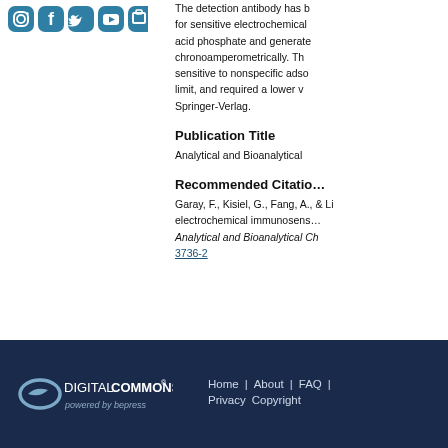[Figure (other): Social media icons: Instagram, Facebook, Twitter, YouTube, and another platform icon, displayed in teal/dark blue color]
The detection antibody has been used for sensitive electrochemical acid phosphate and generates chronoamperometrically. The sensitive to nonspecific adsorption limit, and required a lower volume. Springer-Verlag.
Publication Title
Analytical and Bioanalytical
Recommended Citation
Garay, F., Kisiel, G., Fang, A., & Li... electrochemical immunosensor. Analytical and Bioanalytical Ch... 3736-2
Digital Commons powered by bepress | Home | About | FAQ | Privacy | Copyright